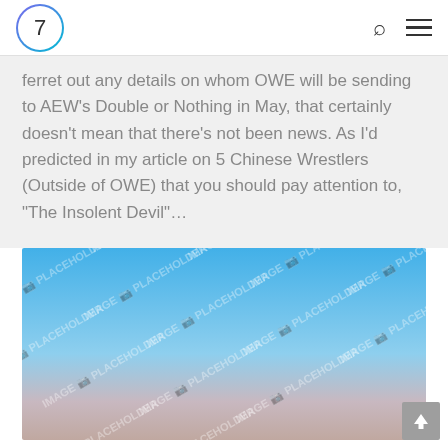7
ferret out any details on whom OWE will be sending to AEW's Double or Nothing in May, that certainly doesn't mean that there's not been news. As I'd predicted in my article on 5 Chinese Wrestlers (Outside of OWE) that you should pay attention to, “The Insolent Devil”…
[Figure (photo): Image placeholder with sky gradient background — blue sky fading to warm tones at bottom, with repeated 'IMAGE PLACEHOLDER' watermark text overlaid diagonally]